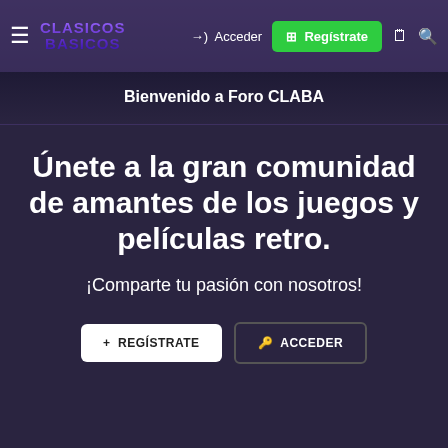CLASICOS BASICOS — Acceder | Regístrate
Bienvenido a Foro CLABA
Únete a la gran comunidad de amantes de los juegos y películas retro.
¡Comparte tu pasión con nosotros!
+ REGÍSTRATE | ACCEDER